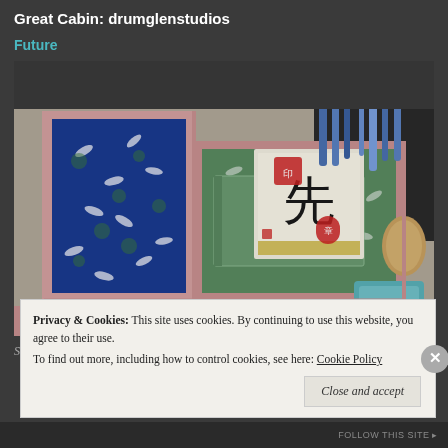Great Cabin: drumglenstudios
Future
[Figure (photo): An open decorative box with pink trim, lined with blue Japanese paper featuring white cranes, containing a green crane-patterned book and a white card with a Japanese character (kanji) and red seals, set on a table with art supplies in the background.]
Shodo by © #AndreaCConnolly
Privacy & Cookies: This site uses cookies. By continuing to use this website, you agree to their use. To find out more, including how to control cookies, see here: Cookie Policy
Close and accept